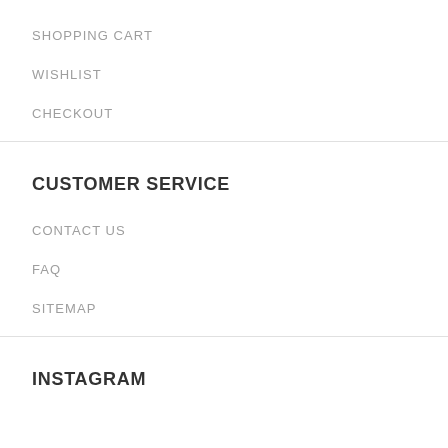SHOPPING CART
WISHLIST
CHECKOUT
CUSTOMER SERVICE
CONTACT US
FAQ
SITEMAP
INSTAGRAM